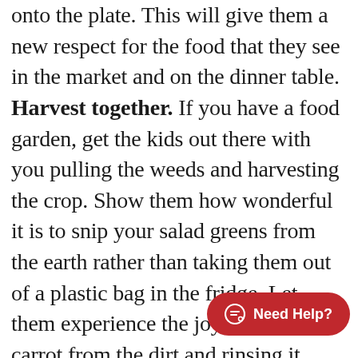onto the plate. This will give them a new respect for the food that they see in the market and on the dinner table. Harvest together. If you have a food garden, get the kids out there with you pulling the weeds and harvesting the crop. Show them how wonderful it is to snip your salad greens from the earth rather than taking them out of a plastic bag in the fridge. Let them experience the joy of pulling a carrot from the dirt and rinsing it under then hose before gobbling it up. Teaching your